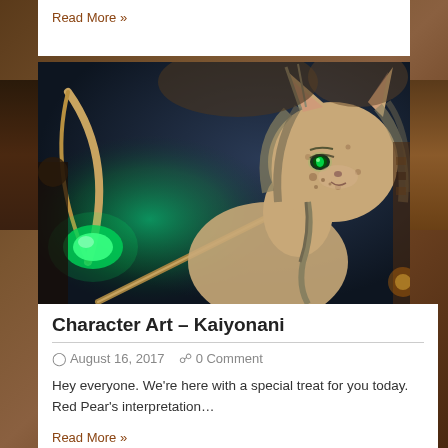Read More »
[Figure (illustration): Fantasy character art showing a feline/cat-like humanoid character with spotted fur, pointed ears, glowing green eyes, holding a staff with a green glowing orb. Dark blue background. Tavern scene visible at edges.]
Character Art – Kaiyonani
August 16, 2017   0 Comment
Hey everyone.  We're here with a special treat for you today.  Red Pear's interpretation…
Read More »